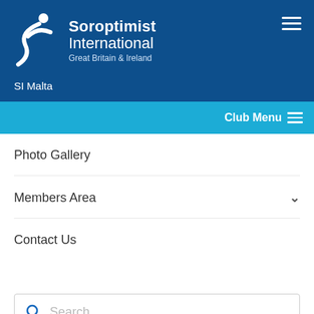Soroptimist International Great Britain & Ireland
SI Malta
Club Menu
Photo Gallery
Members Area
Contact Us
Search ...